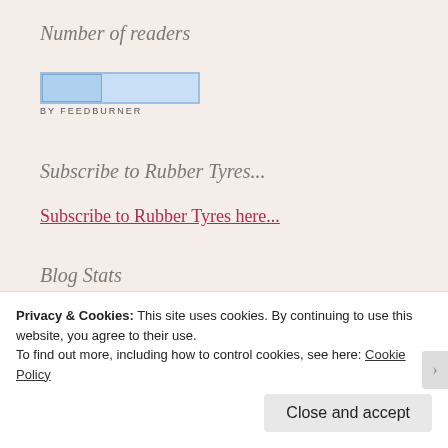Number of readers
[Figure (other): FeedBurner subscriber count widget showing a light blue bar graphic with 'BY FEEDBURNER' label below]
Subscribe to Rubber Tyres...
Subscribe to Rubber Tyres here...
Blog Stats
97,950 hits
Search
Search ...
Privacy & Cookies: This site uses cookies. By continuing to use this website, you agree to their use.
To find out more, including how to control cookies, see here: Cookie Policy
Close and accept